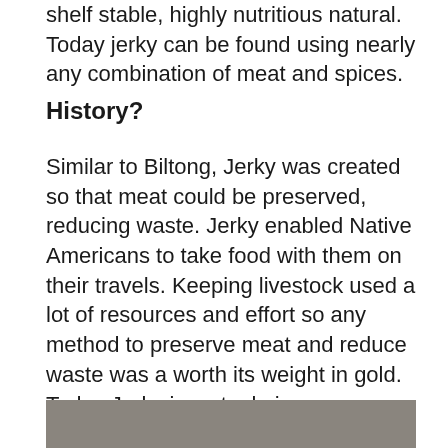shelf stable, highly nutritious natural. Today jerky can be found using nearly any combination of meat and spices.
History?
Similar to Biltong, Jerky was created so that meat could be preserved, reducing waste. Jerky enabled Native Americans to take food with them on their travels. Keeping livestock used a lot of resources and effort so any method to preserve meat and reduce waste was a worth its weight in gold. Today Jerky is a staple in many households.
[Figure (photo): A photograph of jerky, partially visible at the bottom of the page. The visible portion shows a grayish-brown background.]